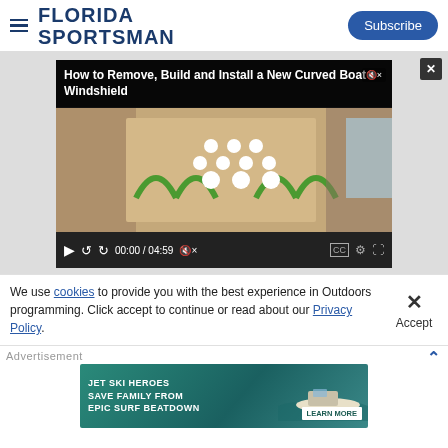FLORIDA SPORTSMAN | Subscribe
[Figure (screenshot): Video player showing 'How to Remove, Build and Install a New Curved Boat Windshield', time 00:00 / 04:59, with video still of people handling a large sheet of material with green clamps]
We use cookies to provide you with the best experience in Outdoors programming. Click accept to continue or read about our Privacy Policy.
Advertisement
[Figure (infographic): Advertisement banner: JET SKI HEROES SAVE FAMILY FROM EPIC SURF BEATDOWN | LEARN MORE, with teal background and boat imagery]